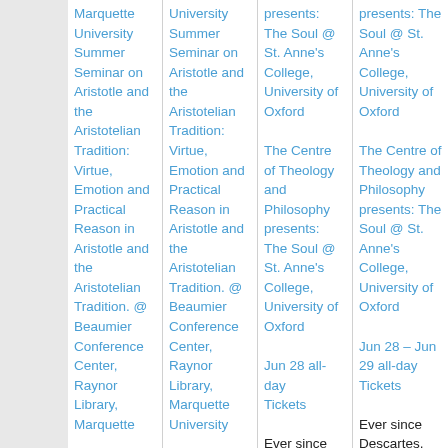| Col1 | Col2 | Col3 | Col4 |
| --- | --- | --- | --- |
| Marquette University Summer Seminar on Aristotle and the Aristotelian Tradition: Virtue, Emotion and Practical Reason in Aristotle and the Aristotelian Tradition. @ Beaumier Conference Center, Raynor Library, Marquette | University Summer Seminar on Aristotle and the Aristotelian Tradition: Virtue, Emotion and Practical Reason in Aristotle and the Aristotelian Tradition. @ Beaumier Conference Center, Raynor Library, Marquette University | presents: The Soul @ St. Anne's College, University of Oxford
The Centre of Theology and Philosophy presents: The Soul @ St. Anne's College, University of Oxford
Jun 28 all-day
Tickets
Ever since Descartes, the soul understood as immediate | presents: The Soul @ St. Anne's College, University of Oxford
The Centre of Theology and Philosophy presents: The Soul @ St. Anne's College, University of Oxford
Jun 28 – Jun 29 all-day
Tickets
Ever since Descartes, the soul understood as |